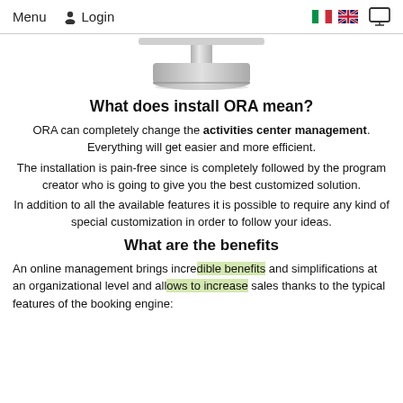Menu  Login
[Figure (illustration): Bottom portion of a silver iMac-style monitor showing the base and stand]
What does install ORA mean?
ORA can completely change the activities center management. Everything will get easier and more efficient. The installation is pain-free since is completely followed by the program creator who is going to give you the best customized solution. In addition to all the available features it is possible to require any kind of special customization in order to follow your ideas.
What are the benefits
An online management brings incredible benefits and simplifications at an organizational level and allows to increase sales thanks to the typical features of the booking engine: